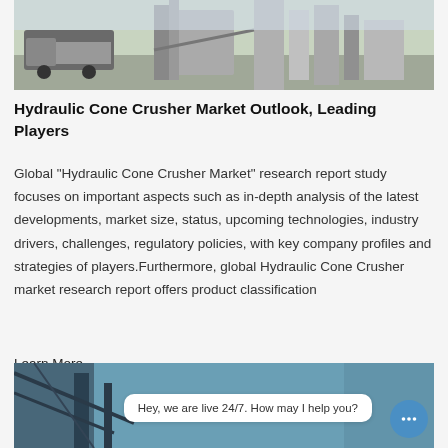[Figure (photo): Industrial construction site with trucks and processing equipment/silos in the background, outdoor daytime scene.]
Hydraulic Cone Crusher Market Outlook, Leading Players
Global "Hydraulic Cone Crusher Market" research report study focuses on important aspects such as in-depth analysis of the latest developments, market size, status, upcoming technologies, industry drivers, challenges, regulatory policies, with key company profiles and strategies of players.Furthermore, global Hydraulic Cone Crusher market research report offers product classification
Learn More
[Figure (photo): Aerial/industrial structure photograph with a chat widget overlay showing the message: Hey, we are live 24/7. How may I help you?]